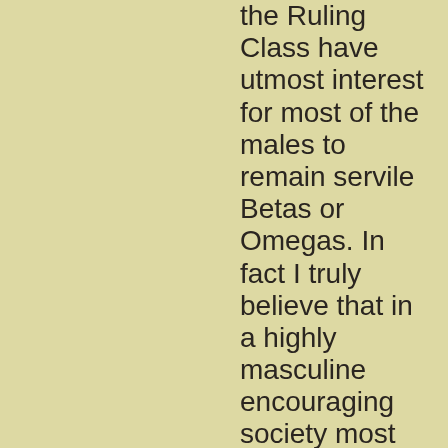the Ruling Class have utmost interest for most of the males to remain servile Betas or Omegas. In fact I truly believe that in a highly masculine encouraging society most men would be Sigmas, then a whole bunch would be charismatic leadership inducing Alphas. In certain areas of society you still see it – remote Monasteries